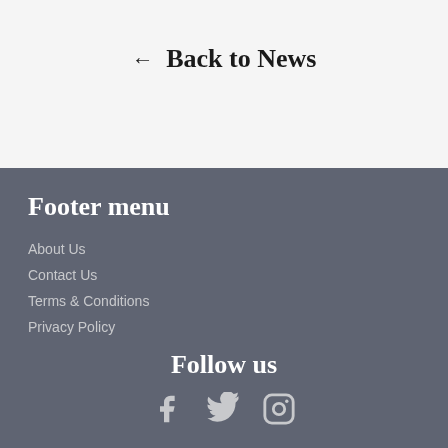← Back to News
Footer menu
About Us
Contact Us
Terms & Conditions
Privacy Policy
Follow us
[Figure (infographic): Social media icons: Facebook, Twitter, Instagram]